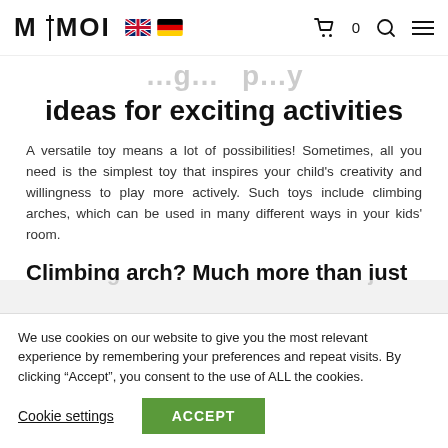MAMOI [UK flag] [DE flag] [cart] 0 [search] [menu]
ideas for exciting activities
A versatile toy means a lot of possibilities! Sometimes, all you need is the simplest toy that inspires your child's creativity and willingness to play more actively. Such toys include climbing arches, which can be used in many different ways in your kids' room.
Climbing arch? Much more than just
We use cookies on our website to give you the most relevant experience by remembering your preferences and repeat visits. By clicking “Accept”, you consent to the use of ALL the cookies.
Cookie settings   ACCEPT